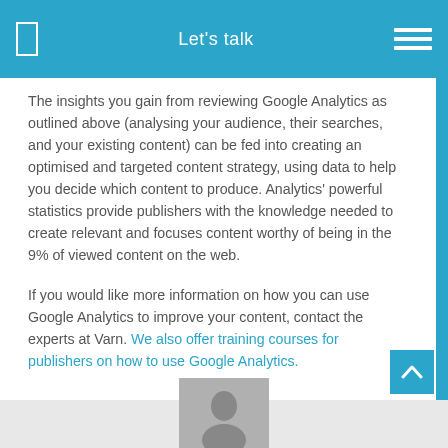Let's talk
The insights you gain from reviewing Google Analytics as outlined above (analysing your audience, their searches, and your existing content) can be fed into creating an optimised and targeted content strategy, using data to help you decide which content to produce. Analytics' powerful statistics provide publishers with the knowledge needed to create relevant and focuses content worthy of being in the 9% of viewed content on the web.
If you would like more information on how you can use Google Analytics to improve your content, contact the experts at Varn. We also offer training courses for publishers on how to use Google Analytics.